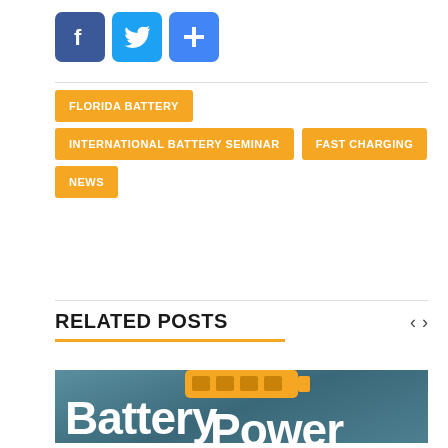[Figure (logo): Social media share buttons: Facebook (blue), Twitter (light blue), Google Plus (blue)]
FLORIDA BATTERY
INTERNATIONAL BATTERY SEMINAR
FAST CHARGING
NEWS
RELATED POSTS
[Figure (logo): Battery Power magazine logo on teal/blue gradient background. White serif text reading 'Battery Power' with an orange battery icon above.]